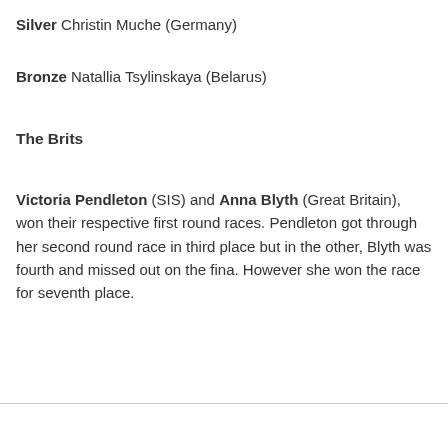Silver Christin Muche (Germany)
Bronze Natallia Tsylinskaya (Belarus)
The Brits
Victoria Pendleton (SIS) and Anna Blyth (Great Britain), won their respective first round races. Pendleton got through her second round race in third place but in the other, Blyth was fourth and missed out on the fina. However she won the race for seventh place.